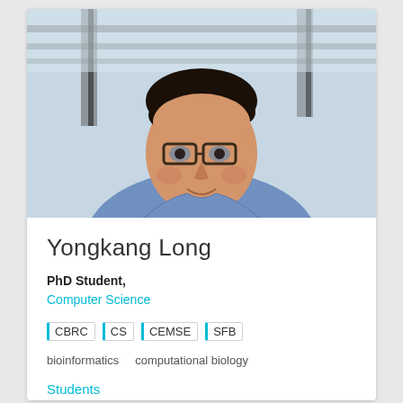[Figure (photo): Headshot photo of Yongkang Long, a young man wearing glasses and a blue sweater, smiling, indoors with a blurred background]
Yongkang Long
PhD Student, Computer Science
CBRC
CS
CEMSE
SFB
bioinformatics   computational biology
Students